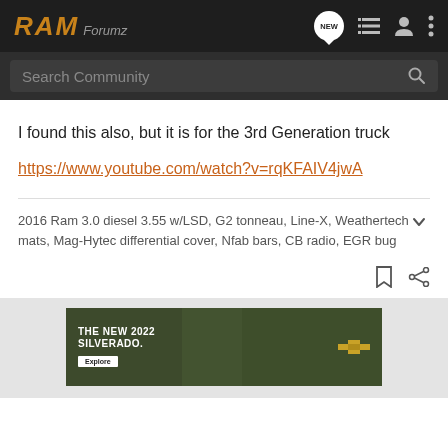RAM Forumz
I found this also, but it is for the 3rd Generation truck
https://www.youtube.com/watch?v=rqKFAIV4jwA
2016 Ram 3.0 diesel 3.55 w/LSD, G2 tonneau, Line-X, Weathertech mats, Mag-Hytec differential cover, Nfab bars, CB radio, EGR bug
[Figure (infographic): Advertisement banner for The New 2022 Silverado by Chevrolet, showing a truck in a field with Explore button]